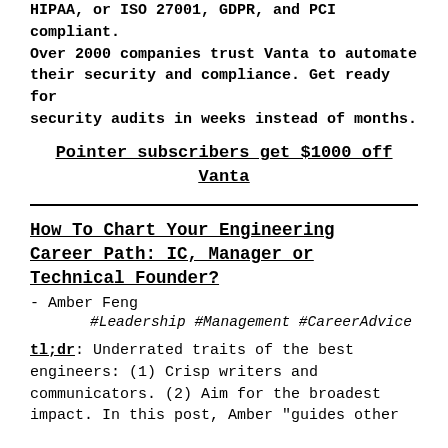HIPAA, or ISO 27001, GDPR, and PCI compliant. Over 2000 companies trust Vanta to automate their security and compliance. Get ready for security audits in weeks instead of months.
Pointer subscribers get $1000 off Vanta
How To Chart Your Engineering Career Path: IC, Manager or Technical Founder?
- Amber Feng
#Leadership #Management #CareerAdvice
tl;dr: Underrated traits of the best engineers: (1) Crisp writers and communicators. (2) Aim for the broadest impact. In this post, Amber "guides other